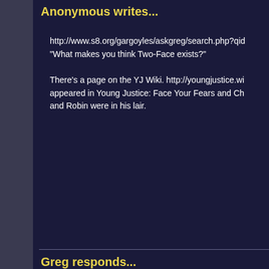Anonymous writes...
http://www.s8.org/gargoyles/askgreg/search.php?qid...
"What makes you think Two-Face exists?"

There's a page on the YJ Wiki. http://youngjustice.wi... appeared in Young Justice: Face Your Fears and Ch... and Robin were in his lair.
Greg responds...
I see. So nothing definitive. ;)
« First   « 10    Displaying #45 - #54 of 64 records.   L
Gargoyles and all related characters and elements are trademarks of a... Walt Disney Company. This web site is in no way affiliated with Buena V... views expressed within this web site do not reflect those of The Walt Dis... copyright infringement is intended.